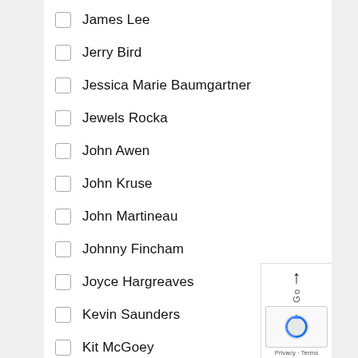James Lee
Jerry Bird
Jessica Marie Baumgartner
Jewels Rocka
John Awen
John Kruse
John Martineau
Johnny Fincham
Joyce Hargreaves
Kevin Saunders
Kit McGoey
Lady Wolf
Lisa de Long